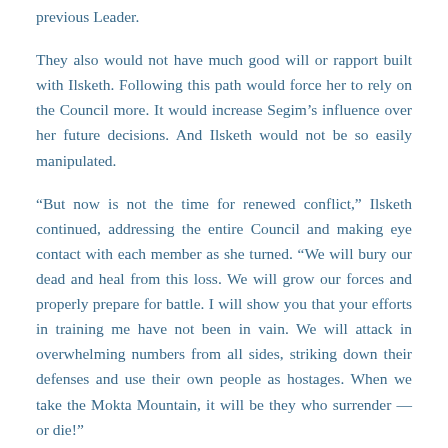previous Leader.
They also would not have much good will or rapport built with Ilsketh. Following this path would force her to rely on the Council more. It would increase Segim’s influence over her future decisions. And Ilsketh would not be so easily manipulated.
“But now is not the time for renewed conflict,” Ilsketh continued, addressing the entire Council and making eye contact with each member as she turned. “We will bury our dead and heal from this loss. We will grow our forces and properly prepare for battle. I will show you that your efforts in training me have not been in vain. We will attack in overwhelming numbers from all sides, striking down their defenses and use their own people as hostages. When we take the Mokta Mountain, it will be they who surrender — or die!”
Segim’s expression burned with indignation at the ease with which Ilsketh had evaded him. She had actually turned the